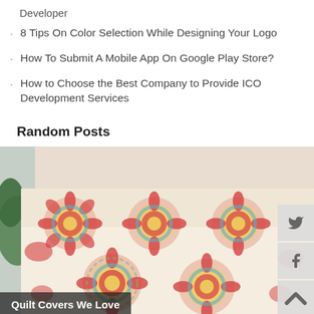Developer
8 Tips On Color Selection While Designing Your Logo
How To Submit A Mobile App On Google Play Store?
How to Choose the Best Company to Provide ICO Development Services
Random Posts
[Figure (photo): A colorful patterned quilt/bedspread with mandala-like floral designs in red, yellow, blue, and green on a white background, styled on a bed with a plant visible in the background.]
Quilt Covers We Love